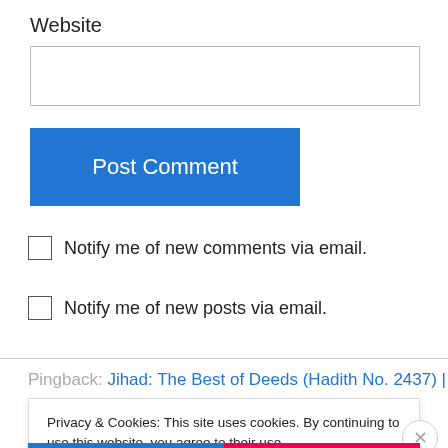Website
[Figure (screenshot): Text input field for website URL]
Post Comment
Notify me of new comments via email.
Notify me of new posts via email.
Pingback: Jihad: The Best of Deeds (Hadith No. 2437) |
Privacy & Cookies: This site uses cookies. By continuing to use this website, you agree to their use.
To find out more, including how to control cookies, see here: Cookie Policy
Close and accept